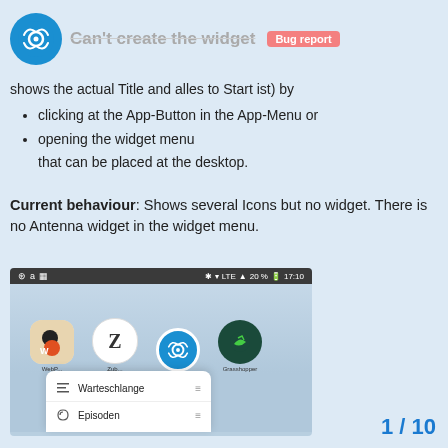Can't create the widget — Bug report
shows the actual Title and alles to Start ist) by
clicking at the App-Button in the App-Menu or
opening the widget menu that can be placed at the desktop.
Current behaviour: Shows several Icons but no widget. There is no Antenna widget in the widget menu.
[Figure (screenshot): Android phone screenshot showing app icons row (WebP, Z app, Antenna app, Grasshopper) and a dropdown menu with items 'Warteschlange' and 'Episoden']
1 / 10